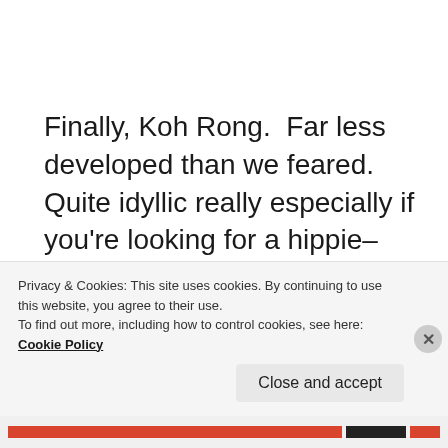Finally, Koh Rong.  Far less developed than we feared.  Quite idyllic really especially if you're looking for a hippie–haven. There is a backpacker alley near the jetty but if you walk down the beach for ten minutes you reach the Treehouse Bungalows and a lovely stretch of beach, with soft white sand, gently swaying palms and water of a thousand ever changing colours lapping at your
Privacy & Cookies: This site uses cookies. By continuing to use this website, you agree to their use.
To find out more, including how to control cookies, see here: Cookie Policy